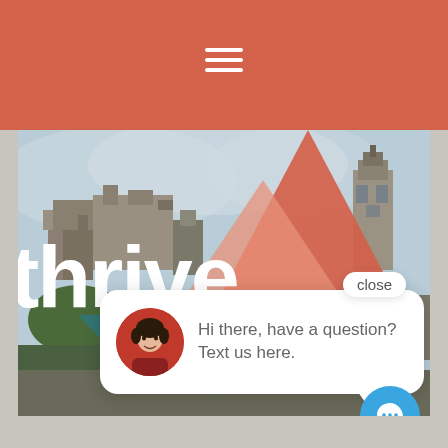[Figure (screenshot): Mobile website screenshot showing a coral/salmon navigation header bar with white hamburger menu icon, a cityscape hero image of Edinburgh with mountain triangle graphics in salmon/teal, large white 'thrive.' text overlay, and a chat popup widget with avatar photo and text 'Hi there, have a question? Text us here.' with a close button and blue chat bubble icon.]
thrive.
close
Hi there, have a question? Text us here.